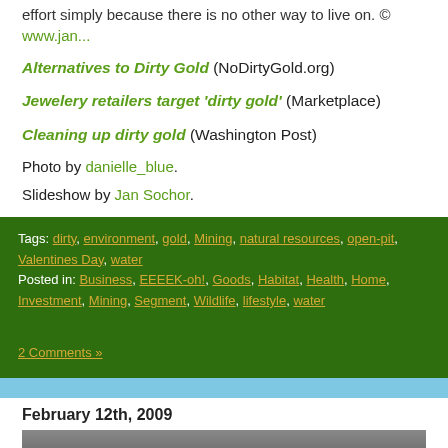effort simply because there is no other way to live on. © www.jan...
Alternatives to Dirty Gold (NoDirtyGold.org)
Jewelery retailers target 'dirty gold' (Marketplace)
Cleaning up dirty gold (Washington Post)
Photo by danielle_blue.
Slideshow by Jan Sochor.
Tags: dirty, environment, gold, Mining, natural resources, open-pit, Valentines Day, water
Posted in: Business, EEEEK-oh!, Goods, Habitat, Health, Home, Investment, Mining, Segment, Wildlife, lifestyle, water

2 Comments »
February 12th, 2009
[Figure (photo): Partial view of a car or vehicle, bottom of page]